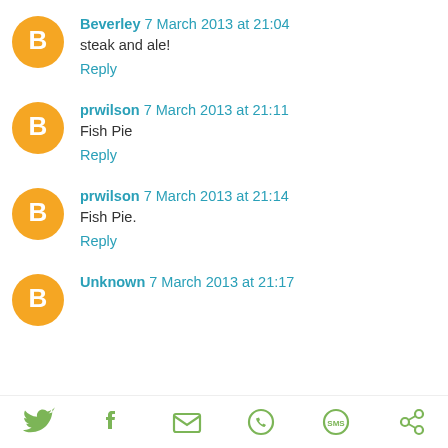Beverley 7 March 2013 at 21:04
steak and ale!
Reply
prwilson 7 March 2013 at 21:11
Fish Pie
Reply
prwilson 7 March 2013 at 21:14
Fish Pie.
Reply
Unknown 7 March 2013 at 21:17
[Figure (other): Social sharing icons bar: Twitter, Facebook, Email, WhatsApp, SMS, other]